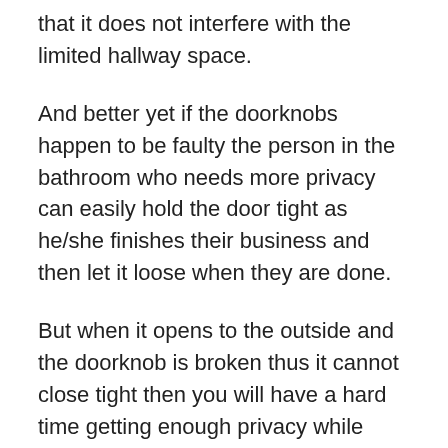that it does not interfere with the limited hallway space.
And better yet if the doorknobs happen to be faulty the person in the bathroom who needs more privacy can easily hold the door tight as he/she finishes their business and then let it loose when they are done.
But when it opens to the outside and the doorknob is broken thus it cannot close tight then you will have a hard time getting enough privacy while inside the bathroom.